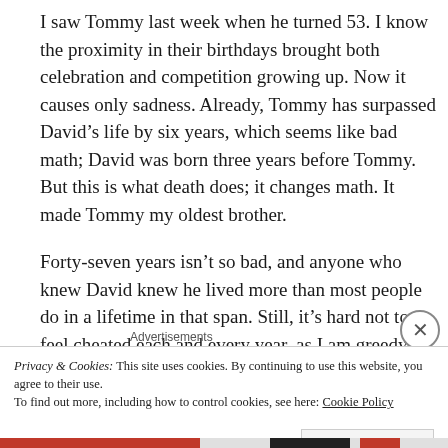I saw Tommy last week when he turned 53. I know the proximity in their birthdays brought both celebration and competition growing up. Now it causes only sadness. Already, Tommy has surpassed David’s life by six years, which seems like bad math; David was born three years before Tommy. But this is what death does; it changes math. It made Tommy my oldest brother.
Forty-seven years isn’t so bad, and anyone who knew David knew he lived more than most people do in a lifetime in that span. Still, it’s hard not to feel cheated each and every year, as I am greedy. Wanting
Advertisements
Privacy & Cookies: This site uses cookies. By continuing to use this website, you agree to their use.
To find out more, including how to control cookies, see here: Cookie Policy
Close and accept